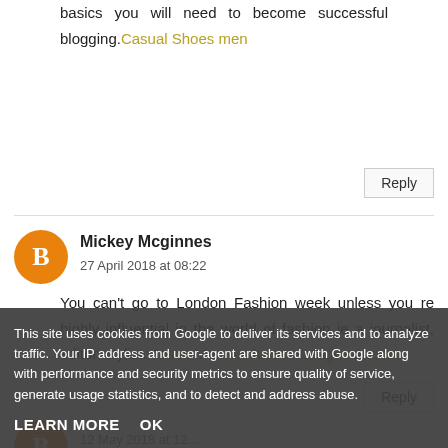basics you will need to become successful blogging. Casual Shoes men
Reply
Mickey Mcginnes
27 April 2018 at 08:22
You can't go to London Fashion week unless you re highly influential in the world of fashion ie a journalist, editor, stylist. Jason Momoa Justice League Jacket
Reply
This site uses cookies from Google to deliver its services and to analyze traffic. Your IP address and user-agent are shared with Google along with performance and security metrics to ensure quality of service, generate usage statistics, and to detect and address abuse.
LEARN MORE   OK
12 May 2018 at 12...